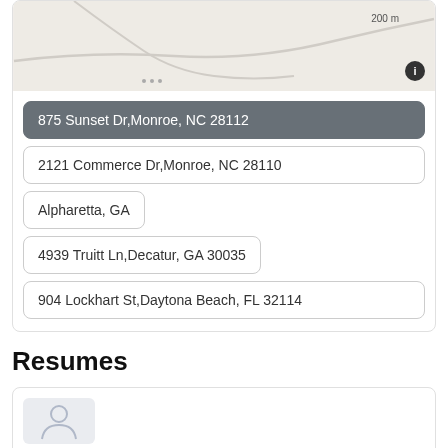[Figure (map): Partial map view showing roads with a 200m scale indicator and an info button in the lower right.]
875 Sunset Dr,Monroe, NC 28112
2121 Commerce Dr,Monroe, NC 28110
Alpharetta, GA
4939 Truitt Ln,Decatur, GA 30035
904 Lockhart St,Daytona Beach, FL 32114
Resumes
[Figure (other): Resumes card with a thumbnail placeholder icon]